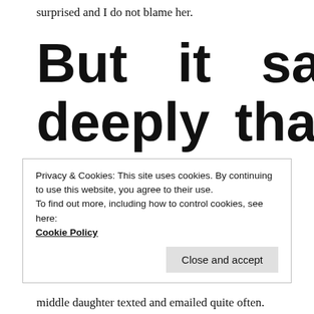surprised and I do not blame her.
But it saddens me deeply that I have not seen my first born daughter now for 2
Privacy & Cookies: This site uses cookies. By continuing to use this website, you agree to their use.
To find out more, including how to control cookies, see here:
Cookie Policy
Close and accept
middle daughter texted and emailed quite often.